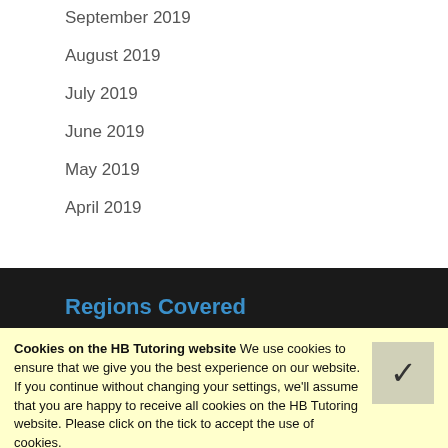September 2019
August 2019
July 2019
June 2019
May 2019
April 2019
Regions Covered
Cookies on the HB Tutoring website We use cookies to ensure that we give you the best experience on our website. If you continue without changing your settings, we'll assume that you are happy to receive all cookies on the HB Tutoring website. Please click on the tick to accept the use of cookies.